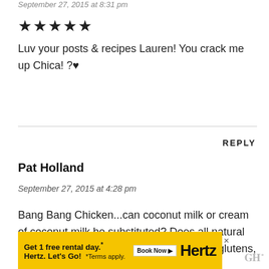September 27, 2015 at 8:31 pm
[Figure (other): Five filled star rating icons]
Luv your posts & recipes Lauren! You crack me up Chica! ?♥
REPLY
Pat Holland
September 27, 2015 at 4:28 pm
Bang Bang Chicken...can coconut milk or cream of coconut milk be substituted? Does all natural peanut butter have soy?. I must follow no glutens,
[Figure (other): Hertz advertisement banner: Get 1 free rental day. Book Now. Hertz. Let's Go! Terms apply.]